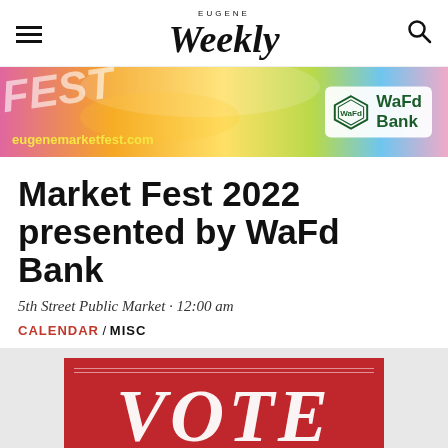EUGENE weekly
[Figure (infographic): Colorful banner advertisement for Eugene Market Fest showing eugenemarketfest.com URL in yellow and WaFd Bank logo on right side with rainbow gradient background]
Market Fest 2022 presented by WaFd Bank
5th Street Public Market · 12:00 am
CALENDAR / MISC
[Figure (infographic): Red banner with large white italic VOTE text and horizontal lines above and below the text]